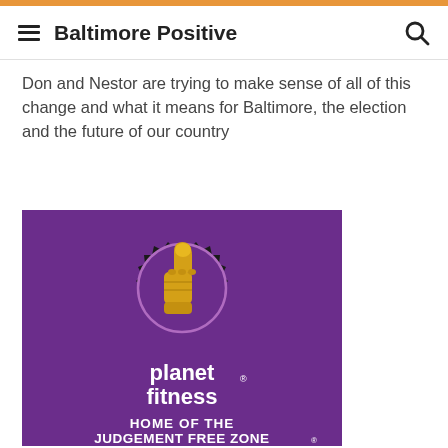Baltimore Positive
Don and Nestor are trying to make sense of all of this change and what it means for Baltimore, the election and the future of our country
[Figure (logo): Planet Fitness advertisement on purple background with thumbs up logo and text 'planet fitness HOME OF THE JUDGEMENT FREE ZONE®']